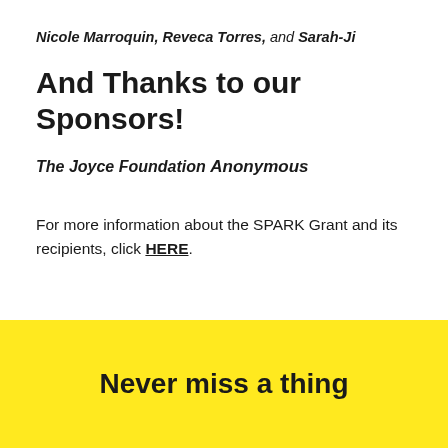Nicole Marroquin, Reveca Torres, and Sarah-Ji
And Thanks to our Sponsors!
The Joyce Foundation
Anonymous
For more information about the SPARK Grant and its recipients, click HERE.
Never miss a thing